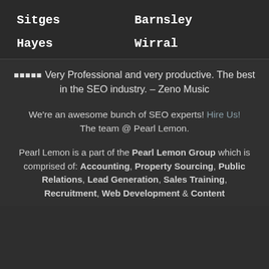Sitges
Barnsley
Hayes
Wirral
⬛⬛⬛⬛⬛ Very Professional and very productive. The best in the SEO industry. – Zeno Music
We're an awesome bunch of SEO experts! Hire Us! The team @ Pearl Lemon.
Pearl Lemon is a part of the Pearl Lemon Group which is comprised of: Accounting, Property Sourcing, Public Relations, Lead Generation, Sales Training, Recruitment, Web Development & Content